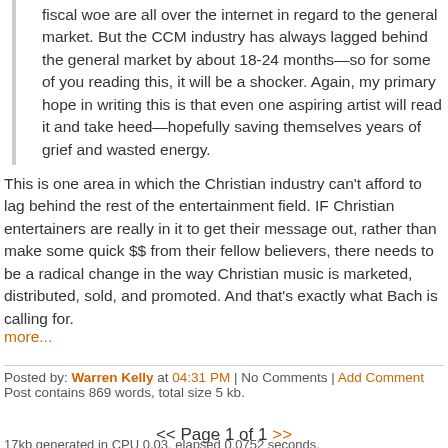fiscal woe are all over the internet in regard to the general market. But the CCM industry has always lagged behind the general market by about 18-24 months—so for some of you reading this, it will be a shocker. Again, my primary hope in writing this is that even one aspiring artist will read it and take heed—hopefully saving themselves years of grief and wasted energy.
This is one area in which the Christian industry can't afford to lag behind the rest of the entertainment field. IF Christian entertainers are really in it to get their message out, rather than make some quick $$ from their fellow believers, there needs to be a radical change in the way Christian music is marketed, distributed, sold, and promoted. And that's exactly what Bach is calling for.
more...
Posted by: Warren Kelly at 04:31 PM | No Comments | Add Comment
Post contains 869 words, total size 5 kb.
<< Page 1 of 1 >>
17kb generated in CPU 0.03, elapsed 0.0752 seconds.
63 queries taking 0.0599 seconds, 146 records returned.
Powered by Minx 1.1.6c-pink.